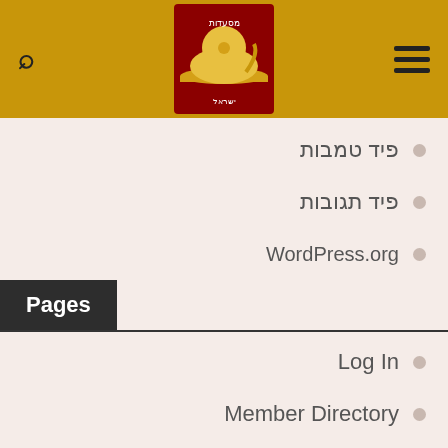[Figure (logo): Restaurant logo with cloche/dome and Hebrew text on red background]
פיד טמבות
פיד תגובות
WordPress.org
Pages
Log In
Member Directory
My Account
My Profile
Reset Password
Sign Up
אנגלי